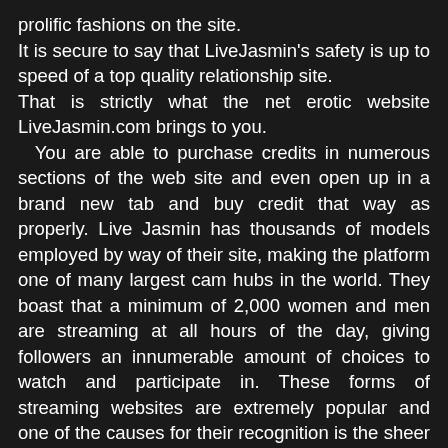prolific fashions on the site. It is secure to say that LiveJasmin's safety is up to speed of a top quality relationship site. That is strictly what the net erotic website LiveJasmin.com brings to you.   You are able to purchase credits in numerous sections of the web site and even open up in a brand new tab and buy credit that way as properly. Live Jasmin has thousands of models employed by way of their site, making the platform one of many largest cam hubs in the world. They boast that a minimum of 2,000 women and men are streaming at all hours of the day, giving followers an innumerable amount of choices to watch and participate in. These forms of streaming websites are extremely popular and one of the causes for their recognition is the sheer amount of selection and continually can produce within a 24-hour window of time. This means that in case you are unable to find anything that you enjoy, all you need to do